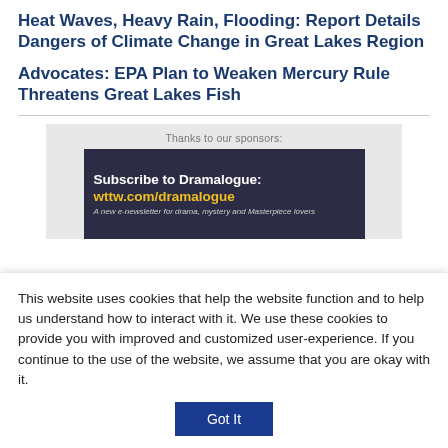Heat Waves, Heavy Rain, Flooding: Report Details Dangers of Climate Change in Great Lakes Region
Advocates: EPA Plan to Weaken Mercury Rule Threatens Great Lakes Fish
[Figure (other): Sponsor advertisement banner for Dramalogue newsletter subscription at wttw.com/dramalogue with text 'Thanks to our sponsors:' above the banner image]
This website uses cookies that help the website function and to help us understand how to interact with it. We use these cookies to provide you with improved and customized user-experience. If you continue to the use of the website, we assume that you are okay with it.
Got It